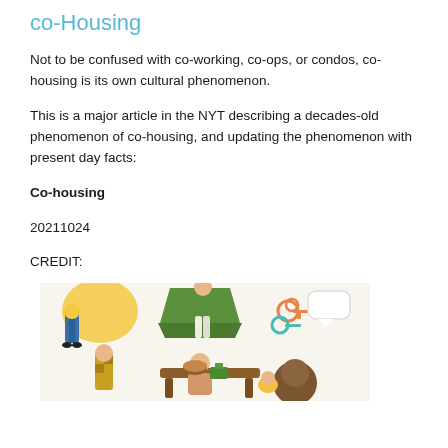co-Housing
Not to be confused with co-working, co-ops, or condos, co-housing is its own cultural phenomenon.
This is a major article in the NYT describing a decades-old phenomenon of co-housing, and updating the phenomenon with present day facts:
Co-housing
20211024
CREDIT:
[Figure (illustration): Colorful illustration showing multiple figures engaged in community/co-housing activities including sharing food and keys, depicted in a flat graphic style with yellow, green, blue and brown tones.]